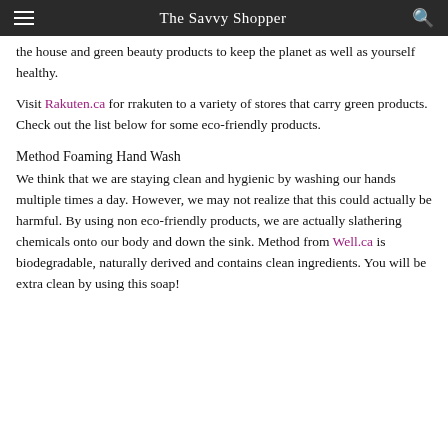The Savvy Shopper
the house and green beauty products to keep the planet as well as yourself healthy.
Visit Rakuten.ca for rrakuten to a variety of stores that carry green products.
Check out the list below for some eco-friendly products.
Method Foaming Hand Wash
We think that we are staying clean and hygienic by washing our hands multiple times a day. However, we may not realize that this could actually be harmful. By using non eco-friendly products, we are actually slathering chemicals onto our body and down the sink. Method from Well.ca is biodegradable, naturally derived and contains clean ingredients. You will be extra clean by using this soap!